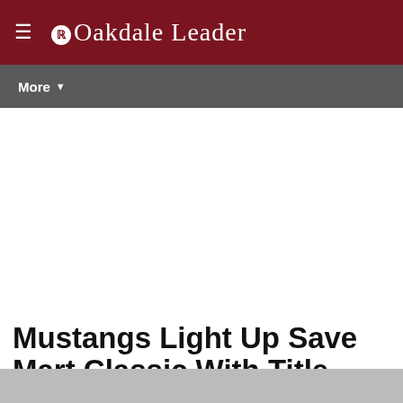Oakdale Leader
More
Mustangs Light Up Save Mart Classic With Title